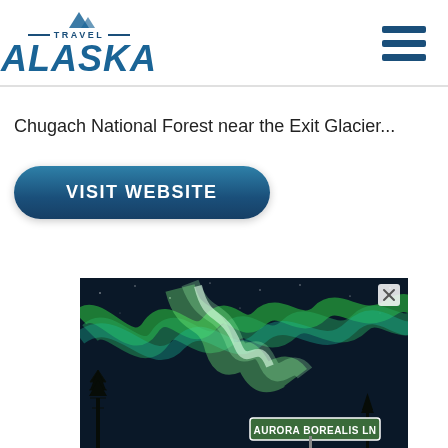[Figure (logo): Travel Alaska logo with mountain icon, 'TRAVEL' text between two horizontal lines, and large italic 'ALASKA' wordmark in blue]
[Figure (other): Hamburger menu icon with three horizontal dark blue bars]
Chugach National Forest near the Exit Glacier...
[Figure (illustration): Blue pill-shaped button with white bold text reading 'VISIT WEBSITE']
[Figure (photo): Photo of aurora borealis (northern lights) in green swirling colors over a dark night sky, with silhouetted trees and a street sign reading 'AURORA BOREALIS LN'. Has an X close button in the top right corner.]